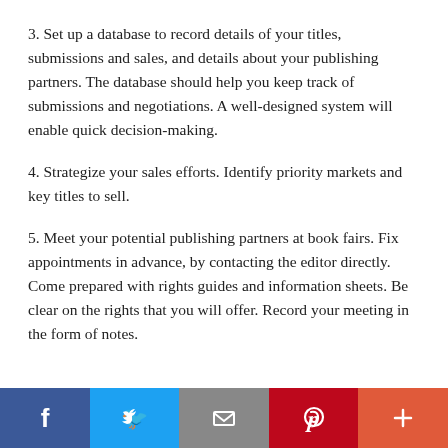3. Set up a database to record details of your titles, submissions and sales, and details about your publishing partners. The database should help you keep track of submissions and negotiations. A well-designed system will enable quick decision-making.
4. Strategize your sales efforts. Identify priority markets and key titles to sell.
5. Meet your potential publishing partners at book fairs. Fix appointments in advance, by contacting the editor directly. Come prepared with rights guides and information sheets. Be clear on the rights that you will offer. Record your meeting in the form of notes.
[Figure (other): Social media share buttons footer bar: Facebook (dark blue), Twitter (light blue), Email (gray), Pinterest (red), Plus/More (orange-red)]